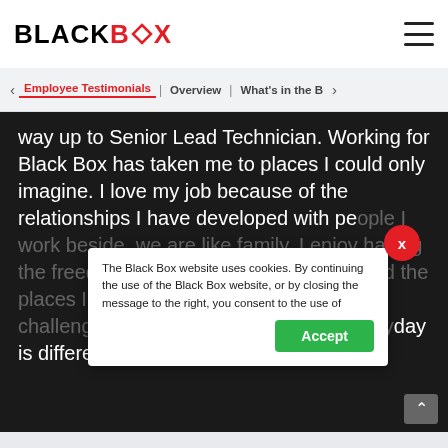BLACK BOX
Employee Testimonials | Overview | What's in the B
way up to Senior Lead Technician. Working for Black Box has taken me to places I could only imagine. I love my job because of the relationships I have developed with people I work beside, we are like family. I enjoy having the freedom to experience the lifestyle and the places I visit. I like the way Black Box challenges the best at what they do. Everyday is different and
The Black Box website uses cookies. By continuing the use of the Black Box website, or by closing the message to the right, you consent to the use of
Accept